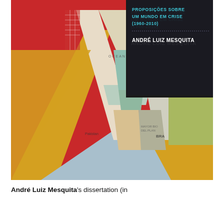[Figure (illustration): Book cover of 'Proposições Sobre Um Mundo em Crise (1960-2010)' by André Luiz Mesquita. Features a large geometric letter A shape made of collaged map fragments, over a red background. Upper right has a dark panel with cyan text showing the title and author name in bold white capitals.]
André Luiz Mesquita's dissertation (in